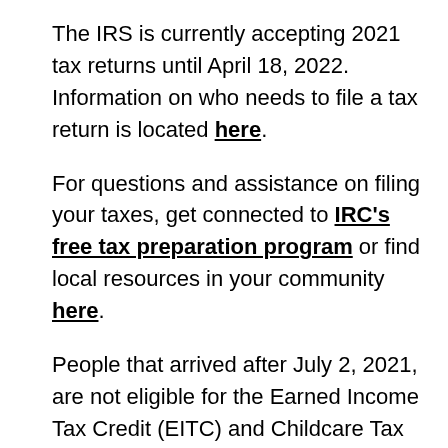The IRS is currently accepting 2021 tax returns until April 18, 2022. Information on who needs to file a tax return is located here.
For questions and assistance on filing your taxes, get connected to IRC's free tax preparation program or find local resources in your community here.
People that arrived after July 2, 2021, are not eligible for the Earned Income Tax Credit (EITC) and Childcare Tax Credit (CTC). If you filed taxes and received these funds you can amend your return to avoid an audit risk. To amend your return, you